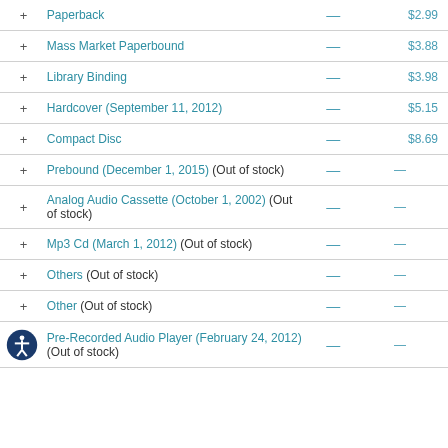| + | Format | — | Price |
| --- | --- | --- | --- |
| + | Paperback | — | $2.99 |
| + | Mass Market Paperbound | — | $3.88 |
| + | Library Binding | — | $3.98 |
| + | Hardcover (September 11, 2012) | — | $5.15 |
| + | Compact Disc | — | $8.69 |
| + | Prebound (December 1, 2015) (Out of stock) | — | — |
| + | Analog Audio Cassette (October 1, 2002) (Out of stock) | — | — |
| + | Mp3 Cd (March 1, 2012) (Out of stock) | — | — |
| + | Others (Out of stock) | — | — |
| + | Other (Out of stock) | — | — |
| [icon] | Pre-Recorded Audio Player (February 24, 2012) (Out of stock) | — | — |